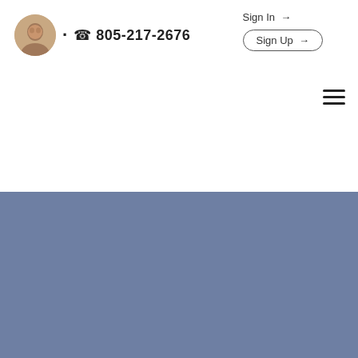[Figure (photo): Circular avatar photo of a woman with dark hair]
· ☎ 805-217-2676
Sign In →
Sign Up →
[Figure (other): Hamburger menu icon (three horizontal lines)]
[Figure (photo): Large blue-gray hero image area]